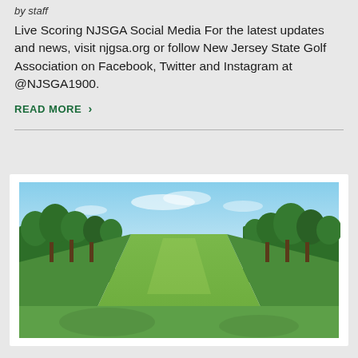by staff
Live Scoring NJSGA Social Media For the latest updates and news, visit njgsa.org or follow New Jersey State Golf Association on Facebook, Twitter and Instagram at @NJSGA1900.
READ MORE >
[Figure (photo): Aerial view of a golf course fairway lined with tall green trees on both sides, lush green grass in the foreground under a blue sky with light clouds.]